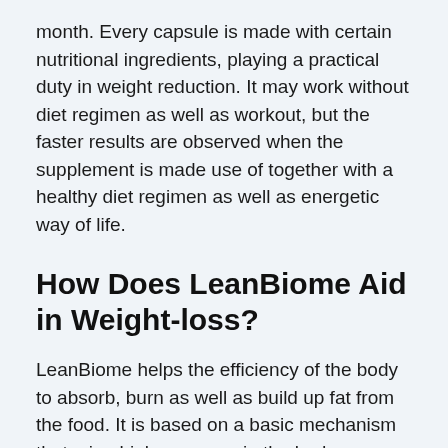month. Every capsule is made with certain nutritional ingredients, playing a practical duty in weight reduction. It may work without diet regimen as well as workout, but the faster results are observed when the supplement is made use of together with a healthy diet regimen as well as energetic way of life.
How Does LeanBiome Aid in Weight-loss?
LeanBiome helps the efficiency of the body to absorb, burn as well as build up fat from the food. It is based on a basic mechanism that microbial pressures in the body are associated with food